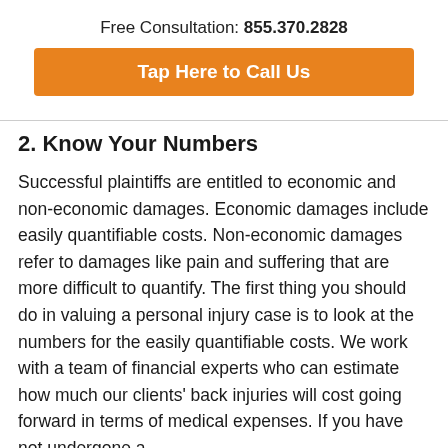Free Consultation: 855.370.2828
Tap Here to Call Us
2. Know Your Numbers
Successful plaintiffs are entitled to economic and non-economic damages. Economic damages include easily quantifiable costs. Non-economic damages refer to damages like pain and suffering that are more difficult to quantify. The first thing you should do in valuing a personal injury case is to look at the numbers for the easily quantifiable costs. We work with a team of financial experts who can estimate how much our clients' back injuries will cost going forward in terms of medical expenses. If you have not undergone a